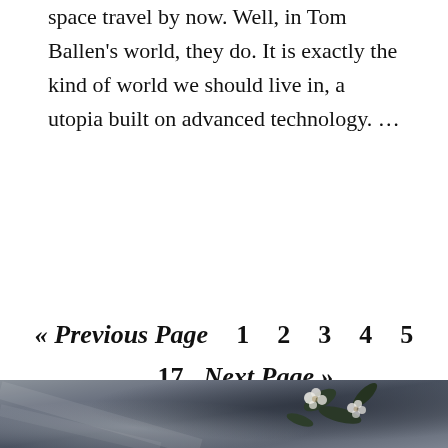space travel by now. Well, in Tom Ballen's world, they do. It is exactly the kind of world we should live in, a utopia built on advanced technology. …
READ MORE
« Previous Page   1   2   3   4   5   …   17   Next Page »
[Figure (photo): Bottom portion of a dark, moody photograph showing fabric and flowers with dark green leaves and white blossoms against a grey-blue background.]